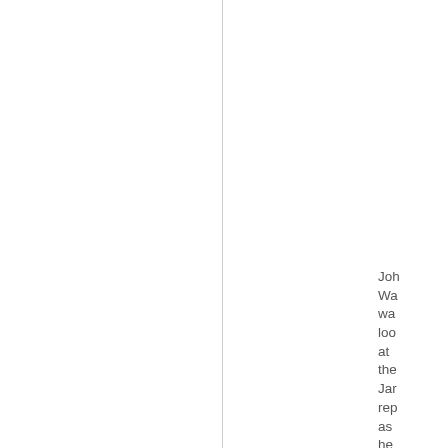Joh Wa wa loo at the Jar rep as he wa spe pas and fier as soc as